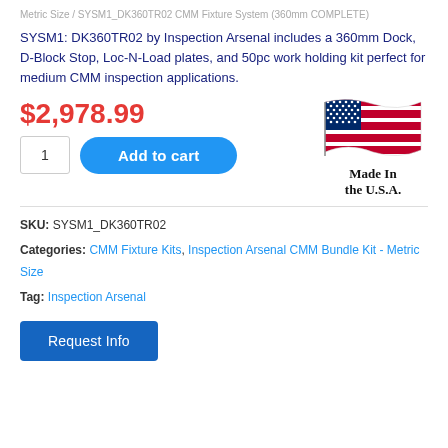Metric Size / SYSM1_DK360TR02 CMM Fixture System (360mm COMPLETE)
SYSM1: DK360TR02 by Inspection Arsenal includes a 360mm Dock, D-Block Stop, Loc-N-Load plates, and 50pc work holding kit perfect for medium CMM inspection applications.
$2,978.99
[Figure (illustration): Made in the USA flag logo with waving American flag above text 'Made In the U.S.A.']
SKU: SYSM1_DK360TR02
Categories: CMM Fixture Kits, Inspection Arsenal CMM Bundle Kit - Metric Size
Tag: Inspection Arsenal
Request Info